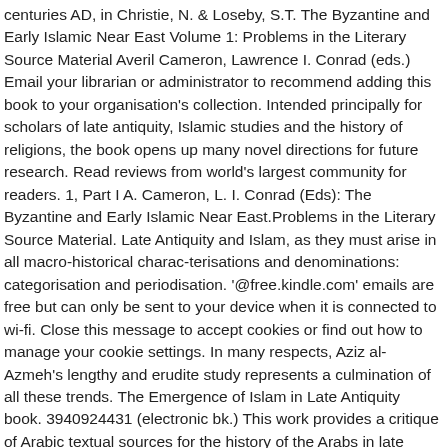centuries AD, in Christie, N. & Loseby, S.T. The Byzantine and Early Islamic Near East Volume 1: Problems in the Literary Source Material Averil Cameron, Lawrence I. Conrad (eds.) Email your librarian or administrator to recommend adding this book to your organisation's collection. Intended principally for scholars of late antiquity, Islamic studies and the history of religions, the book opens up many novel directions for future research. Read reviews from world's largest community for readers. 1, Part I A. Cameron, L. I. Conrad (Eds): The Byzantine and Early Islamic Near East.Problems in the Literary Source Material. Late Antiquity and Islam, as they must arise in all macro-historical charac-terisations and denominations: categorisation and periodisation. '@free.kindle.com' emails are free but can only be sent to your device when it is connected to wi-fi. Close this message to accept cookies or find out how to manage your cookie settings. In many respects, Aziz al-Azmeh's lengthy and erudite study represents a culmination of all these trends. The Emergence of Islam in Late Antiquity book. 3940924431 (electronic bk.) This work provides a critique of Arabic textual sources for the history of the Arabs in late antique times, ... Theories and paradigms of Islamic studies ISBN 9783940924438 (electronic bk.) of your Kindle email address below. Topics discussed include the emergence and development of the Muhammadan polity and its new cultic deity and associated ritual, the constitution of the Muslim canon, and the development of early Islam as an imperial